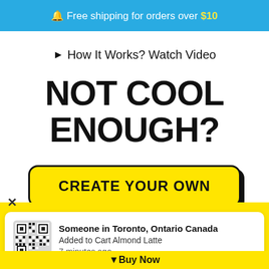🔔 Free shipping for orders over $10
► How It Works? Watch Video
NOT COOL ENOUGH?
CREATE YOUR OWN
×
Someone in Toronto, Ontario Canada
Added to Cart Almond Latte
7 minutes ago
▼ Buy Now